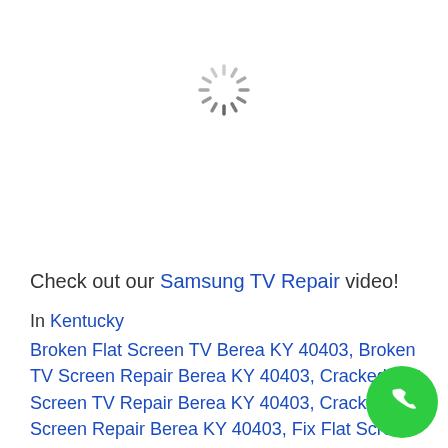[Figure (other): Spinning loading indicator (circular spinner) centered near top of page]
Check out our Samsung TV Repair video!
In Kentucky
Broken Flat Screen TV Berea KY 40403, Broken TV Screen Repair Berea KY 40403, Cracked Flat Screen TV Repair Berea KY 40403, Cracked TV Screen Repair Berea KY 40403, Fix Flat Screen TV Berea KY 40403, Fix Flat Screen TV Crack Berea KY 40403, Fix TV Screen Berea KY 40403, Flat Screen TV Repair Cracked Screen Berea KY